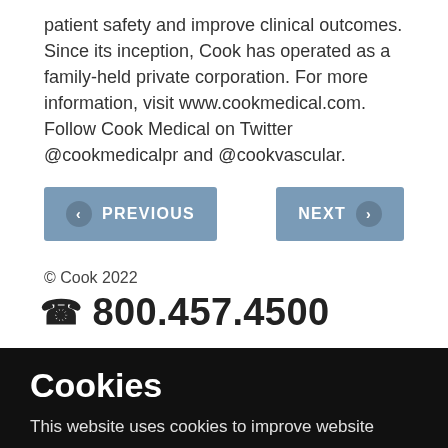patient safety and improve clinical outcomes. Since its inception, Cook has operated as a family-held private corporation. For more information, visit www.cookmedical.com. Follow Cook Medical on Twitter @cookmedicalpr and @cookvascular.
PREVIOUS | NEXT (navigation buttons)
© Cook 2022
☎ 800.457.4500
Cookies
This website uses cookies to improve website